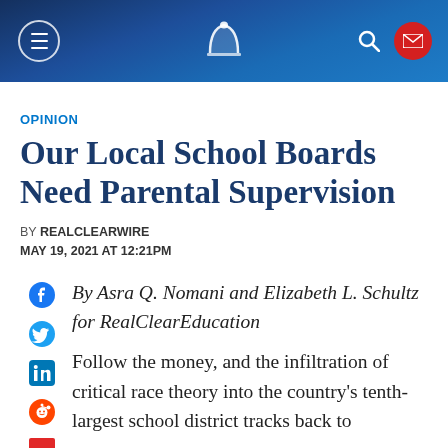RealClearWire header navigation
OPINION
Our Local School Boards Need Parental Supervision
BY REALCLEARWIRE
MAY 19, 2021 AT 12:21PM
By Asra Q. Nomani and Elizabeth L. Schultz for RealClearEducation
Follow the money, and the infiltration of critical race theory into the country's tenth-largest school district tracks back to